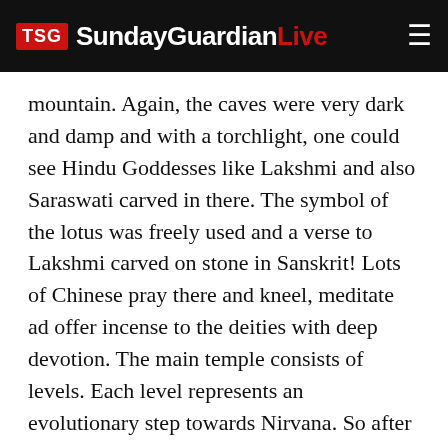TSG SundayGuardianLive
mountain. Again, the caves were very dark and damp and with a torchlight, one could see Hindu Goddesses like Lakshmi and also Saraswati carved in there. The symbol of the lotus was freely used and a verse to Lakshmi carved on stone in Sanskrit! Lots of Chinese pray there and kneel, meditate ad offer incense to the deities with deep devotion. The main temple consists of levels. Each level represents an evolutionary step towards Nirvana. So after a climb, you have a black, red, green, and white Buddha at the topmost level. Similar to ours the Chinese have 108 as a significant number in numerology. The Buddhist rosary is 108 beads.